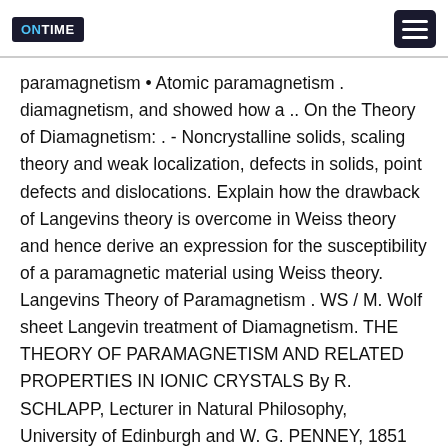ONTIME
paramagnetism • Atomic paramagnetism . diamagnetism, and showed how a .. On the Theory of Diamagnetism: . - Noncrystalline solids, scaling theory and weak localization, defects in solids, point defects and dislocations. Explain how the drawback of Langevins theory is overcome in Weiss theory and hence derive an expression for the susceptibility of a paramagnetic material using Weiss theory. Langevins Theory of Paramagnetism . WS / M. Wolf sheet Langevin treatment of Diamagnetism. THE THEORY OF PARAMAGNETISM AND RELATED PROPERTIES IN IONIC CRYSTALS By R. SCHLAPP, Lecturer in Natural Philosophy, University of Edinburgh and W. G. PENNEY, 1851 Senior Exhibitioner, Trinity College,